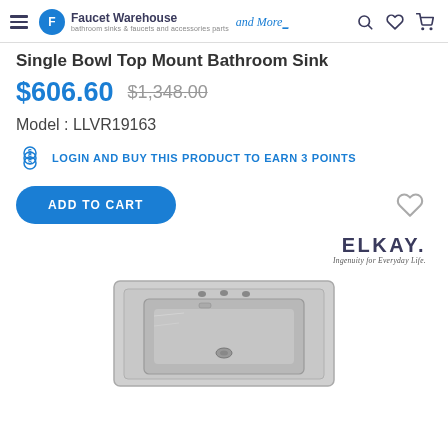Faucet Warehouse and More
Single Bowl Top Mount Bathroom Sink
$606.60  $1,348.00
Model : LLVR19163
LOGIN AND BUY THIS PRODUCT TO EARN 3 POINTS
ADD TO CART
[Figure (logo): Elkay brand logo with tagline 'Ingenuity for Everyday Life.']
[Figure (photo): Stainless steel single bowl top mount bathroom sink viewed from above at an angle, showing faucet holes and basin]